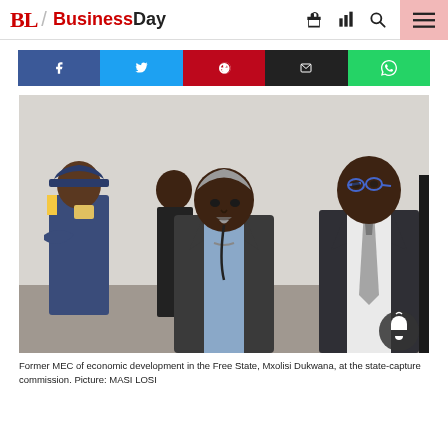BL / BusinessDay
[Figure (other): Social sharing bar with Facebook, Twitter, Pinterest, Email, and WhatsApp buttons]
[Figure (photo): Former MEC of economic development in the Free State, Mxolisi Dukwana, at the state-capture commission. Picture: MASI LOSI]
Former MEC of economic development in the Free State, Mxolisi Dukwana, at the state-capture commission. Picture: MASI LOSI